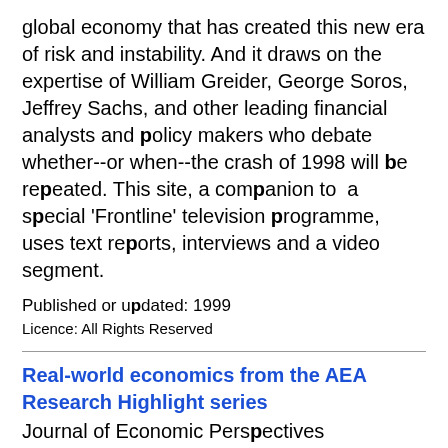global economy that has created this new era of risk and instability. And it draws on the expertise of William Greider, George Soros, Jeffrey Sachs, and other leading financial analysts and policy makers who debate whether--or when--the crash of 1998 will be repeated. This site, a companion to a special 'Frontline' television programme, uses text reports, interviews and a video segment.
Published or updated: 1999
Licence: All Rights Reserved
Real-world economics from the AEA Research Highlight series
Journal of Economic Perspectives
The AEA provide this index to recent, accessible research summary articles from the Journal of Economic Perspectives, collected under the concept that each article illustrates. The resulting